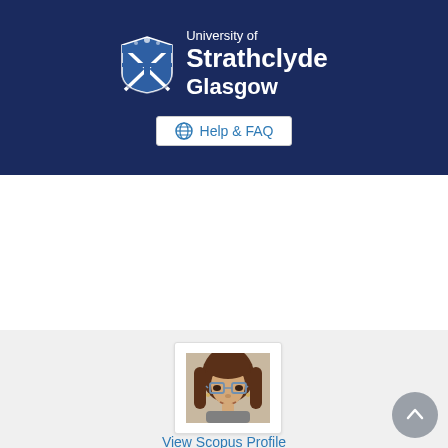[Figure (logo): University of Strathclyde Glasgow logo with crest/shield, white text on navy background, and Help & FAQ button]
Home  Profiles  Research Units  ...
Search...
[Figure (photo): Profile photo of a woman with glasses and brown hair, shown in a white card frame]
View Scopus Profile